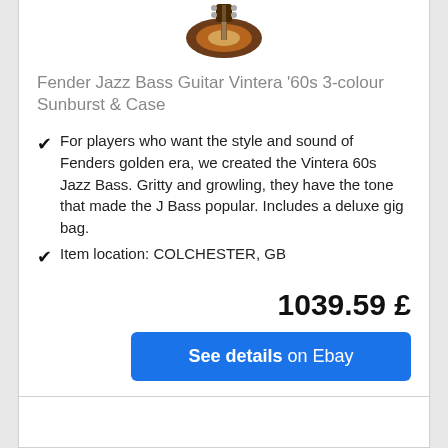[Figure (photo): Partial view of a Fender Jazz Bass Guitar in sunburst color, showing the body and headstock area]
Fender Jazz Bass Guitar Vintera '60s 3-colour Sunburst & Case
For players who want the style and sound of Fenders golden era, we created theVintera 60s Jazz Bass. Gritty and growling, they have the tone that made the J Bass popular. Includes a deluxe gig bag.
Item location: COLCHESTER, GB
1039.59 £
See details on Ebay